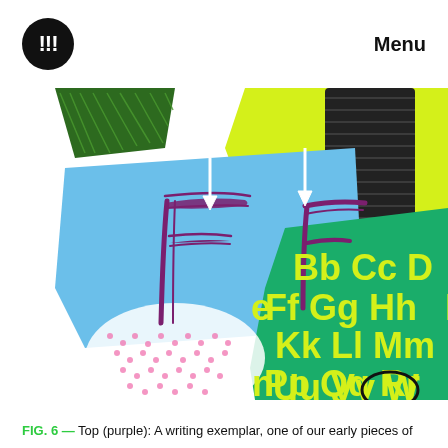!!! Menu
[Figure (illustration): Collage illustration showing a writing exemplar with purple hand-drawn letter F shapes with white arrows pointing to them, overlaid on blue torn paper shape, with green background showing yellow alphabet letters (Bb Cc Dd, Ee Ff Gg Hh, Kk Ll Mm N, Pp Qq Rr, Uu Vv W), yellow-green shape at top right, dark hatched rectangular shape, green dotted pink shape at bottom left, and a black oval circling Rr letters.]
FIG. 6 — Top (purple): A writing exemplar, one of our early pieces of